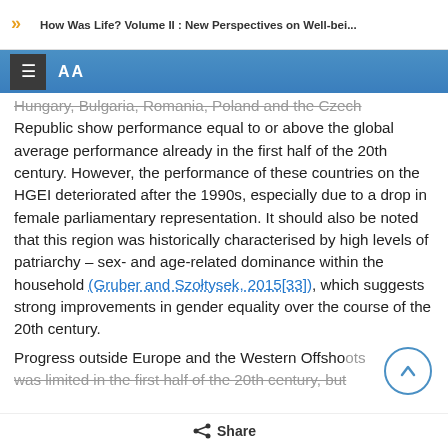How Was Life? Volume II : New Perspectives on Well-bei...
Hungary, Bulgaria, Romania, Poland and the Czech Republic show performance equal to or above the global average performance already in the first half of the 20th century. However, the performance of these countries on the HGEI deteriorated after the 1990s, especially due to a drop in female parliamentary representation. It should also be noted that this region was historically characterised by high levels of patriarchy – sex- and age-related dominance within the household (Gruber and Szołtysek, 2015[33]), which suggests strong improvements in gender equality over the course of the 20th century.
Progress outside Europe and the Western Offshoots was limited in the first half of the 20th century, but
Share